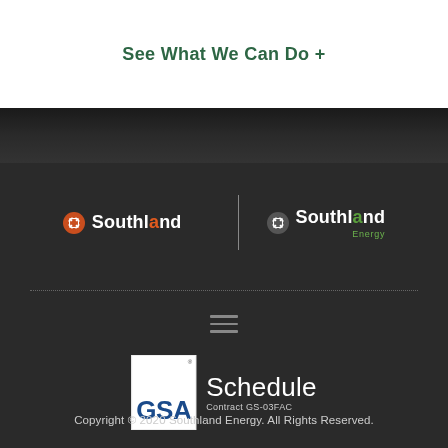See What We Can Do +
[Figure (logo): Southland logo (orange icon, white text) and Southland Energy logo (white/green icon, white text with green Energy subtext) separated by a vertical white divider line, on a dark background]
[Figure (logo): GSA Schedule Contract GS-03FAC logo badge]
Copyright © 2020 Southland Energy. All Rights Reserved.